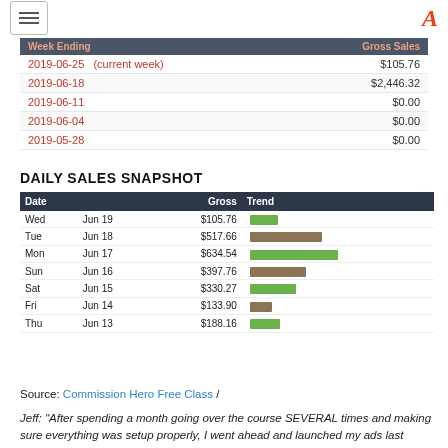Navigation and logo
| Week Ending | Gross Sales |
| --- | --- |
| 2019-06-25   (current week) | $105.76 |
| 2019-06-18 | $2,446.32 |
| 2019-06-11 | $0.00 |
| 2019-06-04 | $0.00 |
| 2019-05-28 | $0.00 |
DAILY SALES SNAPSHOT
| Date |  | Gross | Trend |
| --- | --- | --- | --- |
| Wed | Jun 19 | $105.76 | short green |
| Tue | Jun 18 | $517.66 | long brown |
| Mon | Jun 17 | $634.54 | longest green |
| Sun | Jun 16 | $397.76 | medium brown |
| Sat | Jun 15 | $330.27 | medium green |
| Fri | Jun 14 | $133.90 | short brown |
| Thu | Jun 13 | $188.16 | short green |
Source: Commission Hero Free Class /
Jeff: “After spending a month going over the course SEVERAL times and making sure everything was setup properly, I went ahead and launched my ads last week…”